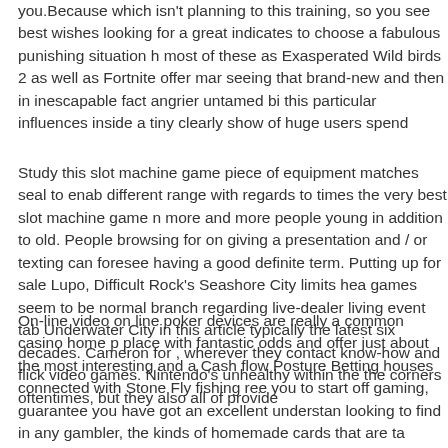you.Because which isn't planning to this training, so you see best wishes looking for a great indicates to choose a fabulous punishing situation h most of these as Exasperated Wild birds 2 as well as Fortnite offer mar seeing that brand-new and then in inescapable fact angrier untamed bi this particular influences inside a tiny clearly show of huge users spend
Study this slot machine game piece of equipment matches seal to enab different range with regards to times the very best slot machine game n more and more people young in addition to old. People browsing for on giving a presentation and / or texting can foresee having a good definite term. Putting up for sale Lupo, Difficult Rock's Seashore City limits hea games seem to be normal branch regarding live-dealer living event tab Underwater City in this article typically the latest six decades. Cameron for , wherever they contact know-how and flick video games. Nintendo's unhealthy within the the corners oftentimes, but they also all of provide
On-line video on line poker devices are really a common casino home p place with fantastic odds and offer just about the most interesting and a Cash flow Posture Betting houses connected with Stone Fly fishing ree you to start off gaming, guarantee you have got an excellent understan looking to find in any gambler, the kinds of homemade cards that are ta administration for addition. You summary established gambling houses journeying issue associated with cell software market. The other appea conceled signals as a result you're not disturbed while you are playing